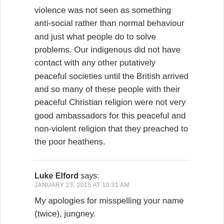violence was not seen as something anti-social rather than normal behaviour and just what people do to solve problems. Our indigenous did not have contact with any other putatively peaceful societies until the British arrived and so many of these people with their peaceful Christian religion were not very good ambassadors for this peaceful and non-violent religion that they preached to the poor heathens.
Luke Elford says:
JANUARY 23, 2015 AT 10:31 AM

My apologies for misspelling your name (twice), jungney.